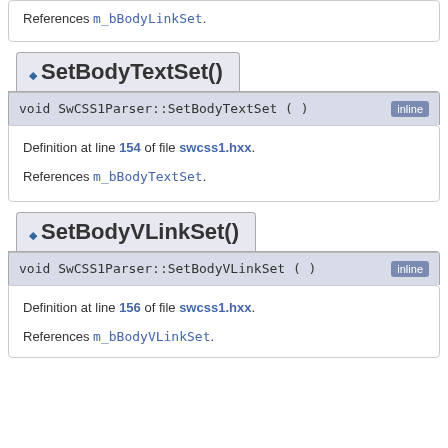References m_bBodyLinkSet.
SetBodyTextSet()
void SwCSS1Parser::SetBodyTextSet ( ) inline
Definition at line 154 of file swcss1.hxx.
References m_bBodyTextSet.
SetBodyVLinkSet()
void SwCSS1Parser::SetBodyVLinkSet ( ) inline
Definition at line 156 of file swcss1.hxx.
References m_bBodyVLinkSet.